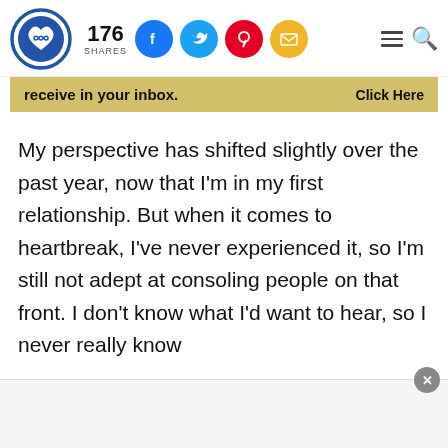176 SHARES [Facebook, Twitter, Pinterest, Email social share buttons] [Menu] [Search]
[Figure (screenshot): Website header with logo (heart with infinity symbol), share count 176, social media icon buttons (Facebook blue, Twitter blue, Pinterest red, Email yellow), hamburger menu and search icons]
receive in your inbox.    Click Here
My perspective has shifted slightly over the past year, now that I'm in my first relationship. But when it comes to heartbreak, I've never experienced it, so I'm still not adept at consoling people on that front. I don't know what I'd want to hear, so I never really know